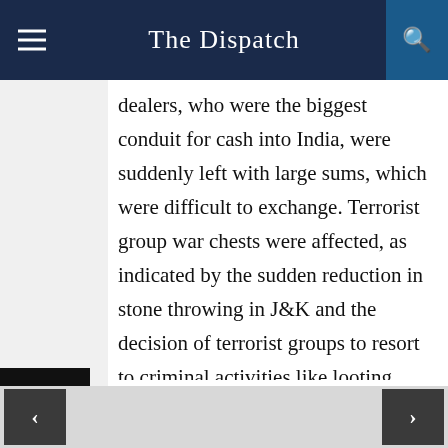The Dispatch
dealers, who were the biggest conduit for cash into India, were suddenly left with large sums, which were difficult to exchange. Terrorist group war chests were affected, as indicated by the sudden reduction in stone throwing in J&K and the decision of terrorist groups to resort to criminal activities like looting cash vans. Similarly, groups in Northeast India and Naxal zones with large amounts of stacked currency were placed in a